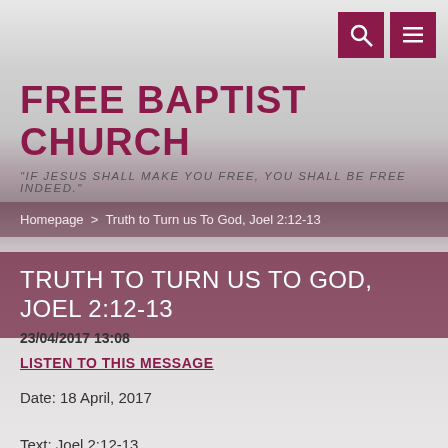[Figure (screenshot): Website screenshot of Free Baptist Church page showing breadcrumb navigation and sermon title]
FREE BAPTIST CHURCH
"IF JESUS SHALL MAKE YOU FREE, YOU SHALL BE FREE INDEED."
Homepage > Truth to Turn us To God, Joel 2:12-13
TRUTH TO TURN US TO GOD, JOEL 2:12-13
23/04/2017 13:08
LISTEN TO THIS MESSAGE
Date: 18 April, 2017
Text: Joel 2:12-13